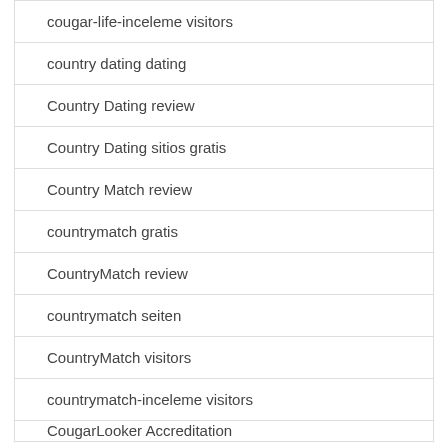cougar-life-inceleme visitors
country dating dating
Country Dating review
Country Dating sitios gratis
Country Match review
countrymatch gratis
CountryMatch review
countrymatch seiten
CountryMatch visitors
countrymatch-inceleme visitors
CougarLooker Accreditation